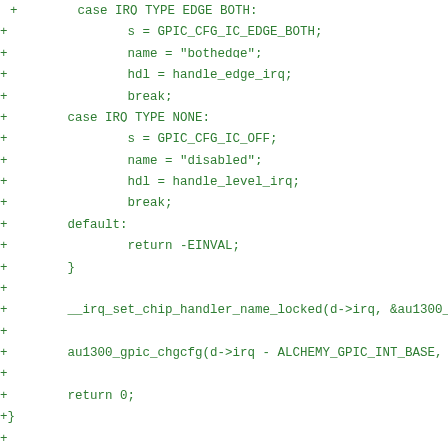+        case IRQ_TYPE_EDGE_BOTH:
+                s = GPIC_CFG_IC_EDGE_BOTH;
+                name = "bothedge";
+                hdl = handle_edge_irq;
+                break;
+        case IRQ_TYPE_NONE:
+                s = GPIC_CFG_IC_OFF;
+                name = "disabled";
+                hdl = handle_level_irq;
+                break;
+        default:
+                return -EINVAL;
+        }
+
+        __irq_set_chip_handler_name_locked(d->irq, &au1300_gp
+
+        au1300_gpic_chgcfg(d->irq - ALCHEMY_GPIC_INT_BASE, GP
+
+        return 0;
+}
+
+/******************************************************************
+
+static inline void ic_init(void __iomem *base)
+{